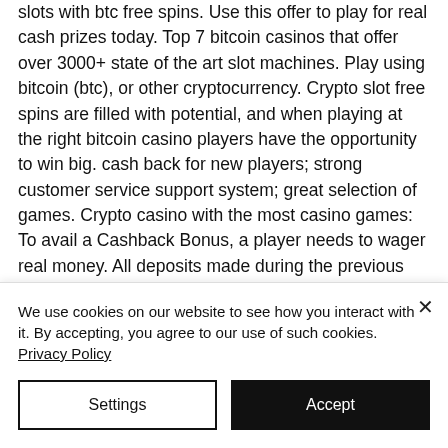slots with btc free spins. Use this offer to play for real cash prizes today. Top 7 bitcoin casinos that offer over 3000+ state of the art slot machines. Play using bitcoin (btc), or other cryptocurrency. Crypto slot free spins are filled with potential, and when playing at the right bitcoin casino players have the opportunity to win big. cash back for new players; strong customer service support system; great selection of games. Crypto casino with the most casino games: To avail a Cashback Bonus, a player needs to wager real money. All deposits made during the previous week will be
We use cookies on our website to see how you interact with it. By accepting, you agree to our use of such cookies. Privacy Policy
Settings
Accept